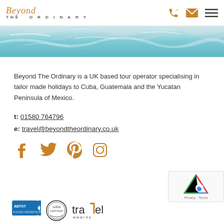Beyond THE ORDINARY
[Figure (photo): Turquoise ocean water close-up hero image]
Beyond The Ordinary is a UK based tour operator specialising in tailor made holidays to Cuba, Guatemala and the Yucatan Peninsula of Mexico.
t: 01580 764796
e: travel@beyondtheordinary.co.uk
[Figure (infographic): Social media icons: Facebook, Twitter, Pinterest, Instagram in gold/amber color]
[Figure (logo): Footer logos: ABTOT, circular certification badge (11832), travel awards logo]